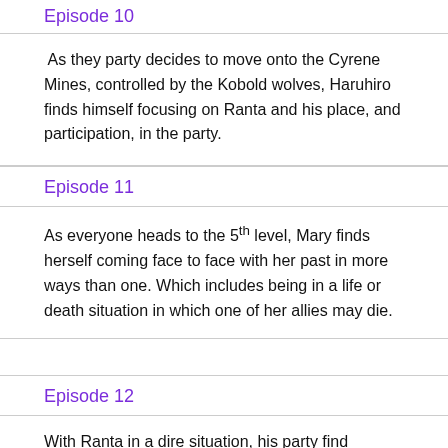Episode 10
As they party decides to move onto the Cyrene Mines, controlled by the Kobold wolves, Haruhiro finds himself focusing on Ranta and his place, and participation, in the party.
Episode 11
As everyone heads to the 5th level, Mary finds herself coming face to face with her past in more ways than one. Which includes being in a life or death situation in which one of her allies may die.
Episode 12
With Ranta in a dire situation, his party find themselves questioning what can they do, if anything. Will they go to save him or plan for his demise and have Mary dispel his